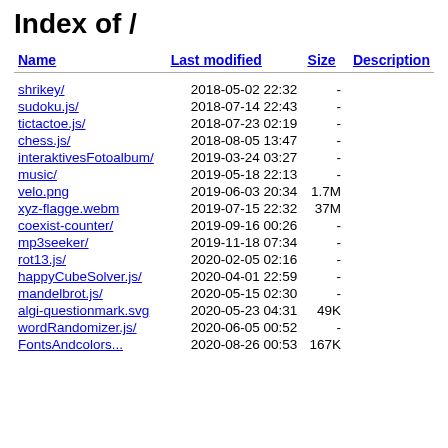Index of /
| Name | Last modified | Size | Description |
| --- | --- | --- | --- |
| shrikey/ | 2018-05-02 22:32 | - |  |
| sudoku.js/ | 2018-07-14 22:43 | - |  |
| tictactoe.js/ | 2018-07-23 02:19 | - |  |
| chess.js/ | 2018-08-05 13:47 | - |  |
| interaktivesFotoalbum/ | 2019-03-24 03:27 | - |  |
| music/ | 2019-05-18 22:13 | - |  |
| velo.png | 2019-06-03 20:34 | 1.7M |  |
| xyz-flagge.webm | 2019-07-15 22:32 | 37M |  |
| coexist-counter/ | 2019-09-16 00:26 | - |  |
| mp3seeker/ | 2019-11-18 07:34 | - |  |
| rot13.js/ | 2020-02-05 02:16 | - |  |
| happyCubeSolver.js/ | 2020-04-01 22:59 | - |  |
| mandelbrot.js/ | 2020-05-15 02:30 | - |  |
| algi-questionmark.svg | 2020-05-23 04:31 | 49K |  |
| wordRandomizer.js/ | 2020-06-05 00:52 | - |  |
| FontsAndcolors... | 2020-08-26 00:53 | 167K |  |